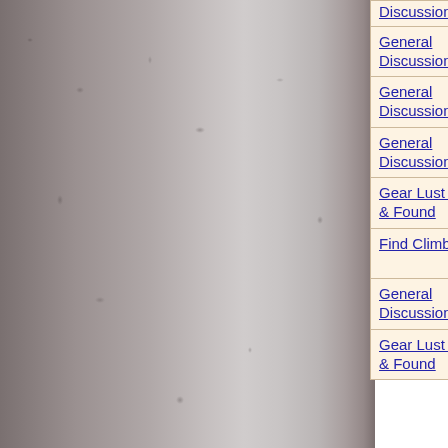| Forum | Date | User | Topic |
| --- | --- | --- | --- |
| Discussion | 2010 | mikl law | placing carrots |
| General Discussion | 31-Dec-2009 | mikl law | Rope pinched from Sublime Point. |
| General Discussion | 26-Dec-2009 | mikl law | Yesterday's Groove retrobolted, again! |
| General Discussion | 26-Dec-2009 | mikl law | Yesterday's Groove retrobolted, again! |
| Gear Lust / Lost & Found | 22-Dec-2009 | mikl law | Impersonate a Chocky Mini Rocks Comp Extravaganza |
| Find Climbers | 22-Dec-2009 | mikl law | DogFace December Decathalon |
| General Discussion | 21-Dec-2009 | mikl law | Rope pinched from Sublime Point. |
| Gear Lust / Lost & Found | 19-Dec-2009 | mikl law | Impersonate a Chocky Mini Rocks Comp Extravaganza |